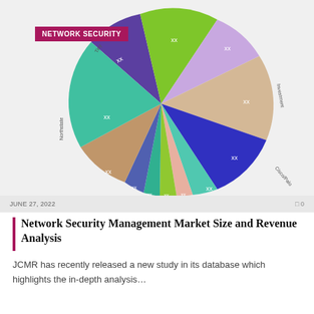[Figure (pie-chart): Network Security Management Market Size]
JUNE 27, 2022
Network Security Management Market Size and Revenue Analysis
JCMR has recently released a new study in its database which highlights the in-depth analysis...